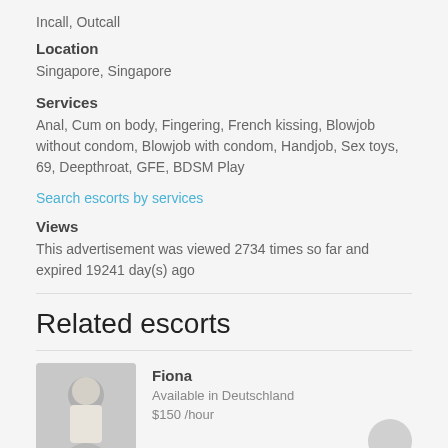Incall, Outcall
Location
Singapore, Singapore
Services
Anal, Cum on body, Fingering, French kissing, Blowjob without condom, Blowjob with condom, Handjob, Sex toys, 69, Deepthroat, GFE, BDSM Play
Search escorts by services
Views
This advertisement was viewed 2734 times so far and expired 19241 day(s) ago
Related escorts
Fiona
Available in Deutschland
$150 /hour